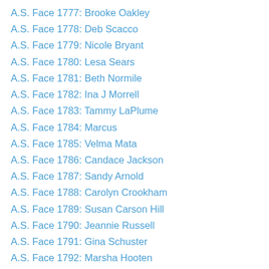A.S. Face 1777: Brooke Oakley
A.S. Face 1778: Deb Scacco
A.S. Face 1779: Nicole Bryant
A.S. Face 1780: Lesa Sears
A.S. Face 1781: Beth Normile
A.S. Face 1782: Ina J Morrell
A.S. Face 1783: Tammy LaPlume
A.S. Face 1784: Marcus
A.S. Face 1785: Velma Mata
A.S. Face 1786: Candace Jackson
A.S. Face 1787: Sandy Arnold
A.S. Face 1788: Carolyn Crookham
A.S. Face 1789: Susan Carson Hill
A.S. Face 1790: Jeannie Russell
A.S. Face 1791: Gina Schuster
A.S. Face 1792: Marsha Hooten
A.S. Face 1793: Sandra Oliver
A.S. Face 1794: Sandy
A.S. Face 1795: Amy Stowe
A.S. Face 1796: Suzanne